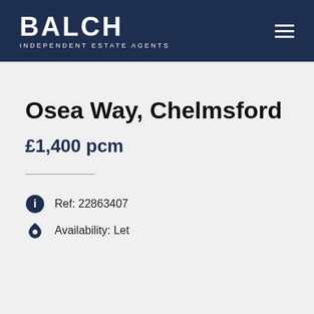BALCH INDEPENDENT ESTATE AGENTS
Osea Way, Chelmsford
£1,400 pcm
Ref: 22863407
Availability: Let